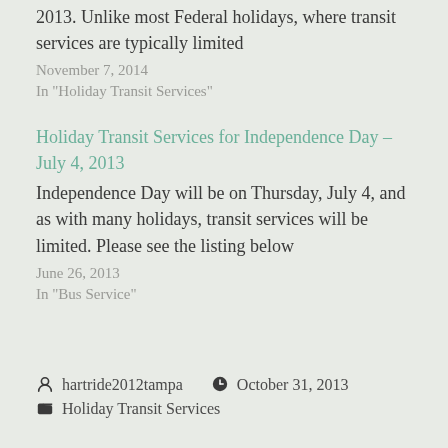2013. Unlike most Federal holidays, where transit services are typically limited
November 7, 2014
In "Holiday Transit Services"
Holiday Transit Services for Independence Day – July 4, 2013
Independence Day will be on Thursday, July 4, and as with many holidays, transit services will be limited. Please see the listing below
June 26, 2013
In "Bus Service"
hartride2012tampa  October 31, 2013  Holiday Transit Services